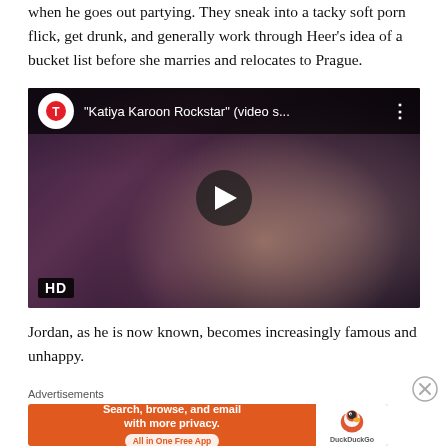when he goes out partying. They sneak into a tacky soft porn flick, get drunk, and generally work through Heer's idea of a bucket list before she marries and relocates to Prague.
[Figure (screenshot): YouTube video thumbnail showing 'Katiya Karoon Rockstar' video with a couple in a romantic scene. HD badge in bottom left. T-Series channel logo and video title visible in top bar.]
Jordan, as he is now known, becomes increasingly famous and unhappy.
Advertisements
[Figure (screenshot): DuckDuckGo advertisement banner: 'Search, browse, and email with more privacy. All in One Free App' with DuckDuckGo logo on the right.]